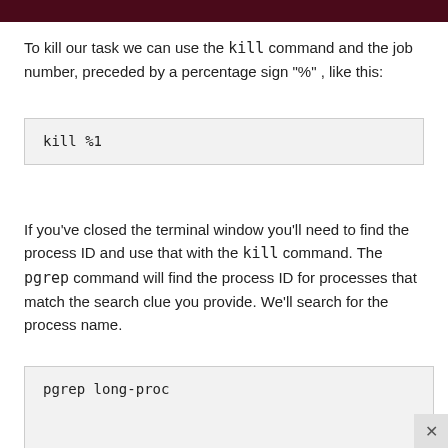To kill our task we can use the kill command and the job number, preceded by a percentage sign "%", like this:
kill %1
If you've closed the terminal window you'll need to find the process ID and use that with the kill command. The pgrep command will find the process ID for processes that match the search clue you provide. We'll search for the process name.
pgrep long-proc